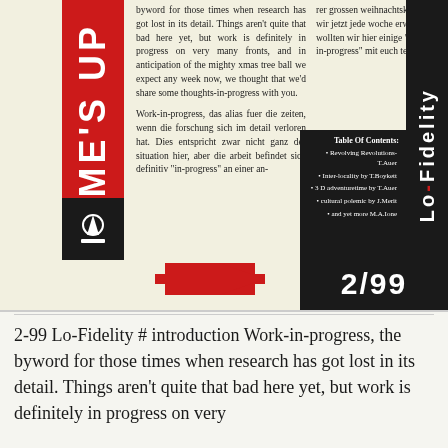[Figure (other): Magazine cover/page for Lo-Fidelity 2/99. Red vertical banner on left reading TIME'S UP. Central text columns in English and German. Table of Contents in black box. Red double-headed arrow at bottom. Issue number 2/99 in black box. Lo-Fidelity text in vertical black banner on right.]
2-99 Lo-Fidelity # introduction Work-in-progress, the byword for those times when research has got lost in its detail. Things aren't quite that bad here yet, but work is definitely in progress on very